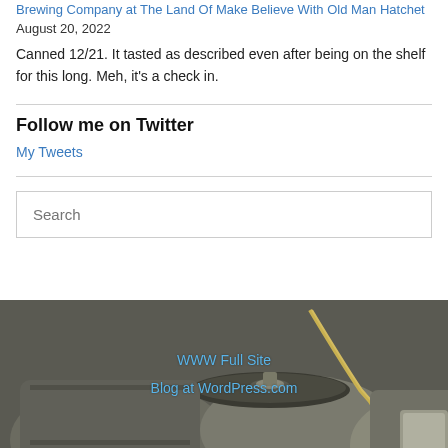Brewing Company at The Land Of Make Believe With Old Man Hatchet
August 20, 2022
Canned 12/21. It tasted as described even after being on the shelf for this long. Meh, it's a check in.
Follow me on Twitter
My Tweets
Search
[Figure (photo): Background photo of metal beer kegs stacked together with hoses, dark industrial setting. Overlaid with two links: 'WWW Full Site' and 'Blog at WordPress.com']